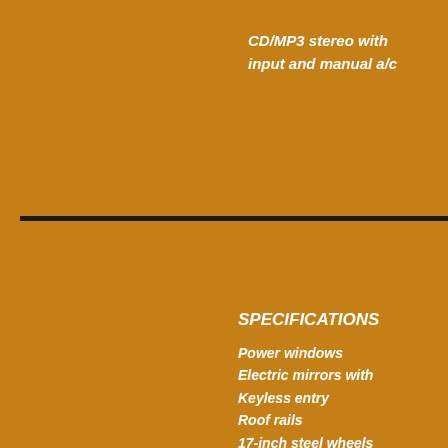CD/MP3 stereo with input and manual a/c
[Figure (other): Horizontal black divider bar with a small gold/yellow accent block near the center-right]
SPECIFICATIONS
Power windows
Electric mirrors with
Keyless entry
Roof rails
17-inch steel wheels
Cloth seats
Fog lamps